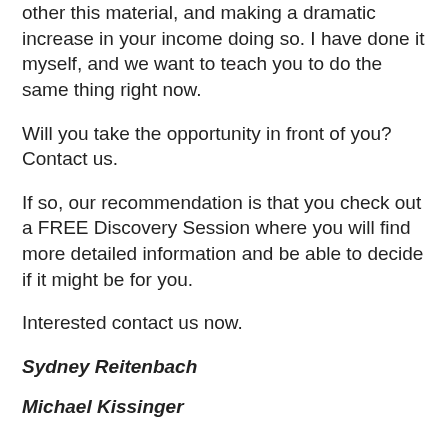other this material, and making a dramatic increase in your income doing so. I have done it myself, and we want to teach you to do the same thing right now.
Will you take the opportunity in front of you? Contact us.
If so, our recommendation is that you check out a FREE Discovery Session where you will find more detailed information and be able to decide if it might be for you.
Interested contact us now.
Sydney Reitenbach
Michael Kissinger